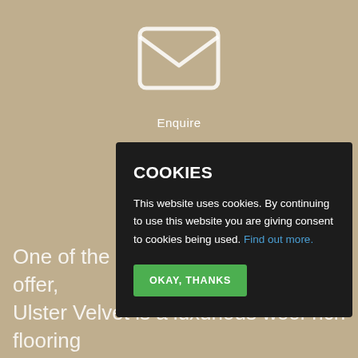[Figure (illustration): White envelope/mail icon outline on tan background]
Enquire
[Figure (screenshot): Dark cookie consent overlay box with title COOKIES, body text about cookie usage, a Find out more link, and an OKAY, THANKS green button]
One of the finest Wilton products on offer, Ulster Velvet is a luxurious wool-rich flooring